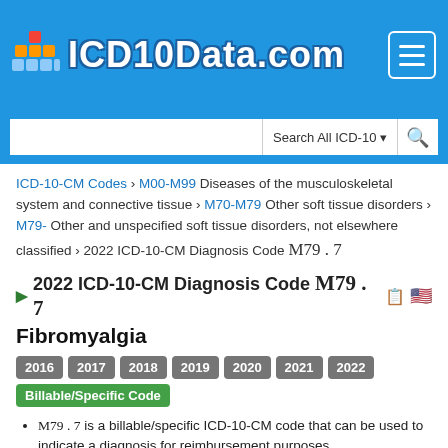ICD10Data.com
ICD-10-CM Codes › M00-M99 Diseases of the musculoskeletal system and connective tissue › M70-M79 Other soft tissue disorders › M79- Other and unspecified soft tissue disorders, not elsewhere classified › 2022 ICD-10-CM Diagnosis Code M79.7
2022 ICD-10-CM Diagnosis Code M79.7
Fibromyalgia
2016 2017 2018 2019 2020 2021 2022 Billable/Specific Code
M79.7 is a billable/specific ICD-10-CM code that can be used to indicate a diagnosis for reimbursement purposes.
The 2022 edition of ICD-10-CM M79.7 became effective on October 1, 2021.
This is the American ICD-10-CM version of M79.7 - other international versions of ICD-10 M79.7 may differ.